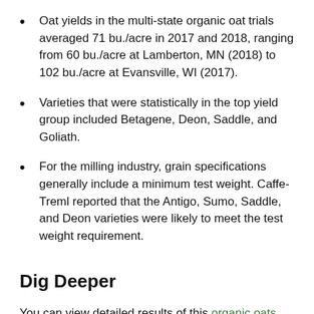Oat yields in the multi-state organic oat trials averaged 71 bu./acre in 2017 and 2018, ranging from 60 bu./acre at Lamberton, MN (2018) to 102 bu./acre at Evansville, WI (2017).
Varieties that were statistically in the top yield group included Betagene, Deon, Saddle, and Goliath.
For the milling industry, grain specifications generally include a minimum test weight. Caffe-Treml reported that the Antigo, Sumo, Saddle, and Deon varieties were likely to meet the test weight requirement.
Dig Deeper
You can view detailed results of this organic oats variety trial, including maturity ratings, lodging